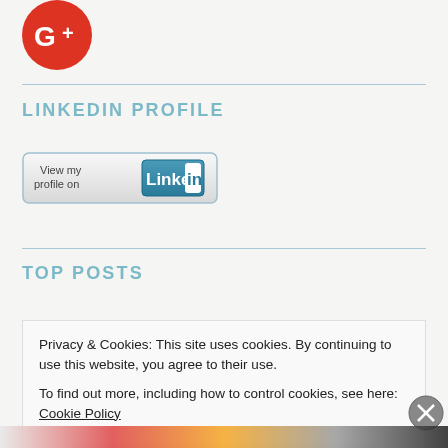[Figure (logo): Google+ logo: red circle with white G+ text, partially cropped at top]
LINKEDIN PROFILE
[Figure (logo): LinkedIn 'View my profile on LinkedIn' button badge with blue LinkedIn logo]
TOP POSTS
Privacy & Cookies: This site uses cookies. By continuing to use this website, you agree to their use.
To find out more, including how to control cookies, see here: Cookie Policy
Close and accept